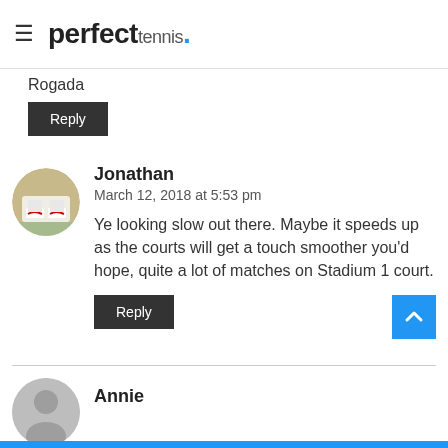perfect tennis.
conditions. It seems tricky but am
rough his first match. Cmon
Rogada
Reply
Jonathan
March 12, 2018 at 5:53 pm
Ye looking slow out there. Maybe it speeds up as the courts will get a touch smoother you'd hope, quite a lot of matches on Stadium 1 court.
Reply
Annie